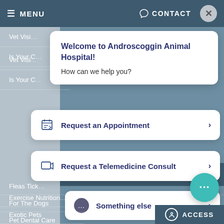[Figure (screenshot): Website navigation bar with MENU and CONTACT links and close button on dark teal background]
Vet Visi...
Is Your C...
Categories
Exercise Nutrition...
Exotic Pets
Fleas Tick...
For The Dogs
Pet Dental Care
Pet Emergencies & First Aid
Pet Grooming & Style
Pet Health & Wellness
Welcome to Androscoggin Animal Hospital!
How can we help you?
Request an Appointment >
Request a Telemedicine Consult >
Something else >
ACCESS